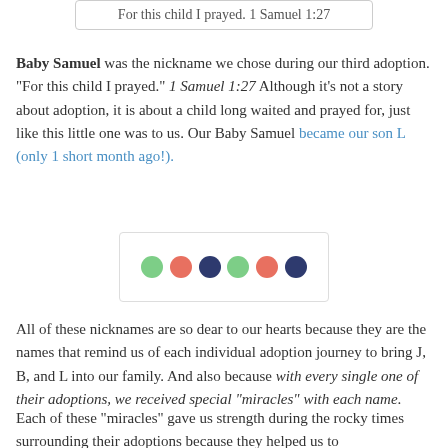For this child I prayed.  1 Samuel 1:27
Baby Samuel was the nickname we chose during our third adoption.  "For this child I prayed." 1 Samuel 1:27  Although it's not a story about adoption, it is about a child long waited and prayed for, just like this little one was to us.  Our Baby Samuel became our son L (only 1 short month ago!).
[Figure (infographic): Six colored dots in a row: green, salmon/red, dark navy, green, salmon/red, dark navy — representing adoption nicknames or children]
All of these nicknames are so dear to our hearts because they are the names that remind us of each individual adoption journey to bring J, B, and L into our family.  And also because with every single one of their adoptions, we received special "miracles" with each name.
Each of these "miracles" gave us strength during the rocky times surrounding their adoptions because they helped us to